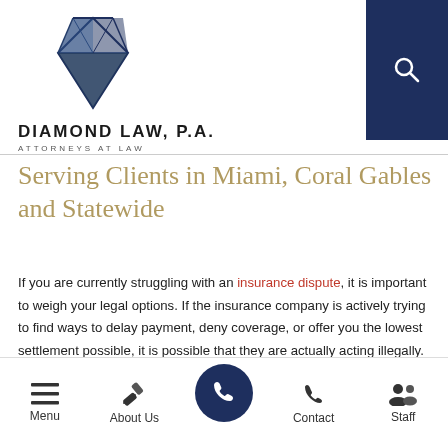[Figure (logo): Diamond Law, P.A. logo with diamond gem icon above firm name]
Serving Clients in Miami, Coral Gables and Statewide
If you are currently struggling with an insurance dispute, it is important to weigh your legal options. If the insurance company is actively trying to find ways to delay payment, deny coverage, or offer you the lowest settlement possible, it is possible that they are actually acting illegally.
Menu | About Us | [Phone] | Contact | Staff